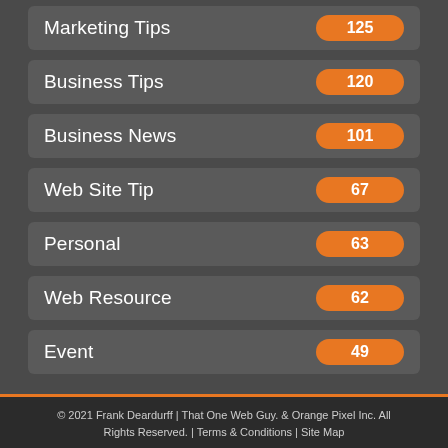Marketing Tips 125
Business Tips 120
Business News 101
Web Site Tip 67
Personal 63
Web Resource 62
Event 49
© 2021 Frank Deardurff | That One Web Guy.  & Orange Pixel Inc. All Rights Reserved. | Terms & Conditions | Site Map